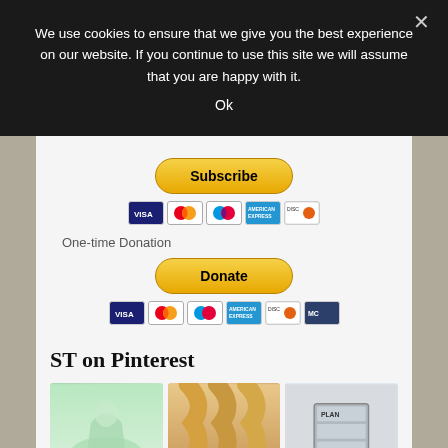We use cookies to ensure that we give you the best experience on our website. If you continue to use this site we will assume that you are happy with it.
Ok
[Figure (other): Subscribe PayPal button with payment card icons (Visa, Mastercard, Maestro, American Express, Discover)]
One-time Donation
[Figure (other): Donate PayPal button with payment card icons (Visa, Mastercard, Maestro, American Express, Discover, and another card)]
ST on Pinterest
[Figure (photo): Three Pinterest preview images: a mint green ball gown, golden wavy hair, and an organized planning cart labeled PLAN]